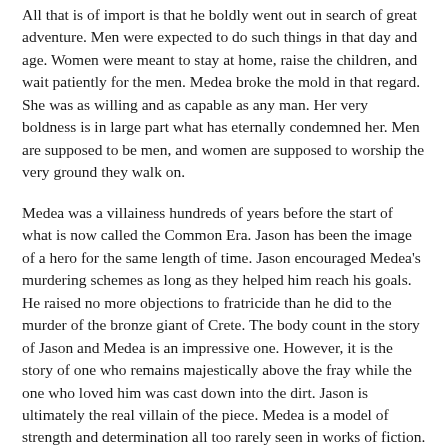All that is of import is that he boldly went out in search of great adventure. Men were expected to do such things in that day and age. Women were meant to stay at home, raise the children, and wait patiently for the men. Medea broke the mold in that regard. She was as willing and as capable as any man. Her very boldness is in large part what has eternally condemned her. Men are supposed to be men, and women are supposed to worship the very ground they walk on.
Medea was a villainess hundreds of years before the start of what is now called the Common Era. Jason has been the image of a hero for the same length of time. Jason encouraged Medea's murdering schemes as long as they helped him reach his goals. He raised no more objections to fratricide than he did to the murder of the bronze giant of Crete. The body count in the story of Jason and Medea is an impressive one. However, it is the story of one who remains majestically above the fray while the one who loved him was cast down into the dirt. Jason is ultimately the real villain of the piece. Medea is a model of strength and determination all too rarely seen in works of fiction.